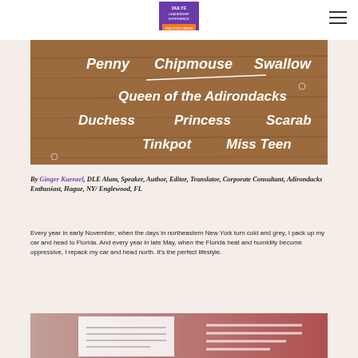Dulye Leadership Experience
[Figure (photo): Wooden board with white text listing boat names: Penny, Chipmouse, Swallow, Queen of the Adirondacks, Duchess, Princess, Scarab, Tinkpot, Miss Teen]
By Ginger Kuenzel, DLE Alum, Speaker, Author, Editor, Translator, Corporate Consultant, Adirondacks Enthusiast, Hague, NY/ Englewood, FL
Every year in early November, when the days in northeastern New York turn cold and grey, I pack up my car and head to Florida. And every year in late May, when the Florida heat and humidity become oppressive, I repack my car and head north. It's the perfect lifestyle.
[Figure (photo): Partial view of a second photo, pinkish-red background, appears to show a document or image with horizontal lines]